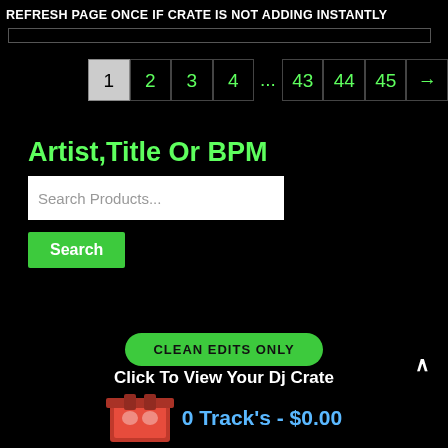REFRESH PAGE ONCE IF CRATE IS NOT ADDING INSTANTLY
[Figure (other): A horizontal progress bar with a dark background and gray border]
Pagination: 1 (active), 2, 3, 4, ..., 43, 44, 45, →
Artist,Title Or BPM
Search Products...
Search
CLEAN EDITS ONLY
Click To View Your Dj Crate
0 Track's - $0.00